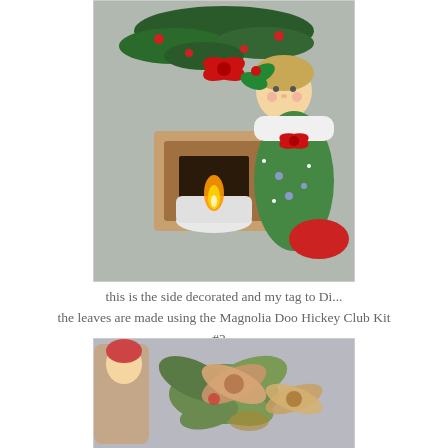[Figure (photo): Christmas decoration scene: a miniature fireplace with a glowing tea light candle, a painted Tilda-style doll figure in a Christmas stocking holding onto the fireplace, evergreen branches with red berries and red bow on top, on a gray background.]
this is the side decorated and my tag to Di...
the leaves are made using the Magnolia Doo Hickey Club Kit #2...
[Figure (photo): Close-up of decorative leaves and ribbons arrangement: peach/gold satin ribbon bows and green leaves forming a decorative cluster, with a Tilda doll figure partially visible on the left side.]